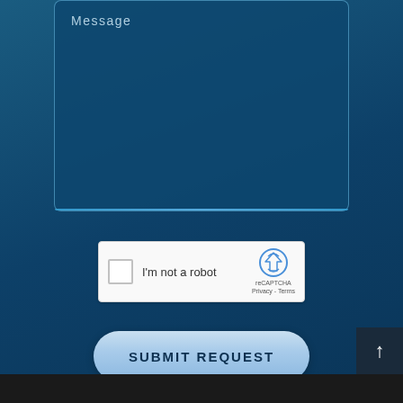Message
[Figure (screenshot): reCAPTCHA widget with checkbox, 'I'm not a robot' text, reCAPTCHA logo, and Privacy - Terms links]
SUBMIT REQUEST
[Figure (other): Back to top arrow button in dark box at bottom right]